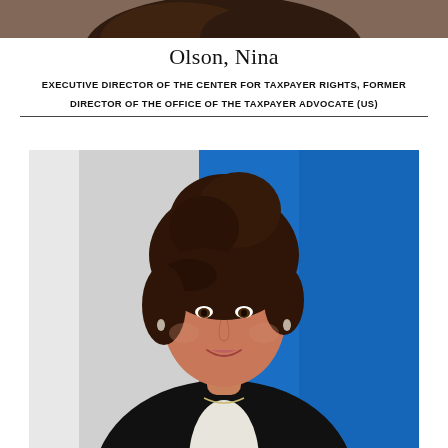[Figure (photo): Top portion of a person's portrait photo, cropped — showing hair/top of head area against a blue and white background.]
Olson, Nina
EXECUTIVE DIRECTOR OF THE CENTER FOR TAXPAYER RIGHTS, FORMER DIRECTOR OF THE OFFICE OF THE TAXPAYER ADVOCATE (US)
[Figure (photo): Portrait photo of Nina Olson, a woman with dark upswept hair, smiling, wearing a black blazer and necklace, against a blue and white background.]